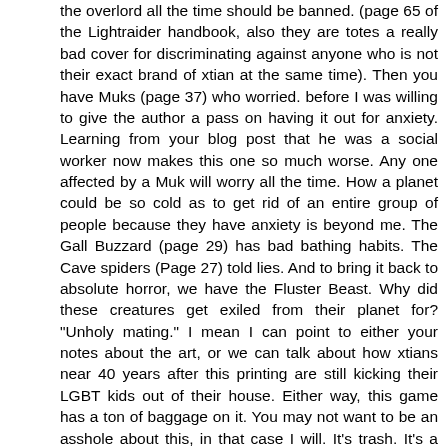the overlord all the time should be banned. (page 65 of the Lightraider handbook, also they are totes a really bad cover for discriminating against anyone who is not their exact brand of xtian at the same time). Then you have Muks (page 37) who worried. before I was willing to give the author a pass on having it out for anxiety. Learning from your blog post that he was a social worker now makes this one so much worse. Any one affected by a Muk will worry all the time. How a planet could be so cold as to get rid of an entire group of people because they have anxiety is beyond me. The Gall Buzzard (page 29) has bad bathing habits. The Cave spiders (Page 27) told lies. And to bring it back to absolute horror, we have the Fluster Beast. Why did these creatures get exiled from their planet for? "Unholy mating." I mean I can point to either your notes about the art, or we can talk about how xtians near 40 years after this printing are still kicking their LGBT kids out of their house. Either way, this game has a ton of baggage on it. You may not want to be an asshole about this, in that case I will. It's trash. It's a game that is set up to teach people how to get them to change their religion. The reason it didn't get popular is timing. Otherwise this could have become a huge thing, which for many of us who grew up religous is